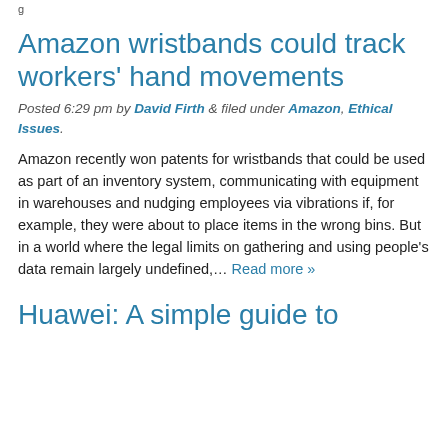g
Amazon wristbands could track workers' hand movements
Posted 6:29 pm by David Firth & filed under Amazon, Ethical Issues.
Amazon recently won patents for wristbands that could be used as part of an inventory system, communicating with equipment in warehouses and nudging employees via vibrations if, for example, they were about to place items in the wrong bins. But in a world where the legal limits on gathering and using people's data remain largely undefined,… Read more »
Huawei: A simple guide to